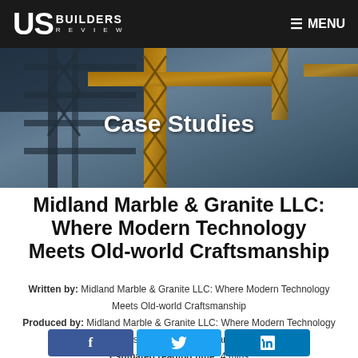US BUILDERS REVIEW | MENU
[Figure (photo): Overhead view of yellow construction crane structure against a blue sky background, with metal scaffolding and structural elements.]
Case Studies
Midland Marble & Granite LLC: Where Modern Technology Meets Old-world Craftsmanship
Written by: Midland Marble & Granite LLC: Where Modern Technology Meets Old-world Craftsmanship
Produced by: Midland Marble & Granite LLC: Where Modern Technology Meets Old-world Craftsmanship
Estimated reading time: 4 mins